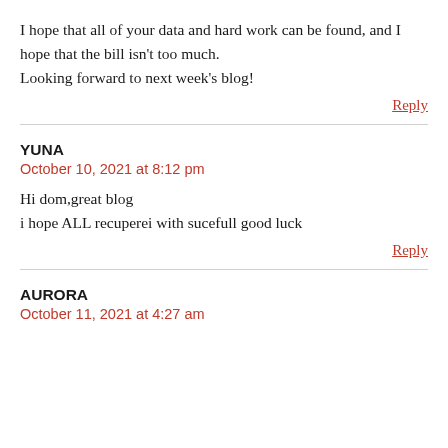I hope that all of your data and hard work can be found, and I hope that the bill isn't too much.
Looking forward to next week's blog!
Reply
YUNA
October 10, 2021 at 8:12 pm
Hi dom,great blog
i hope ALL recuperei with sucefull good luck
Reply
AURORA
October 11, 2021 at 4:27 am